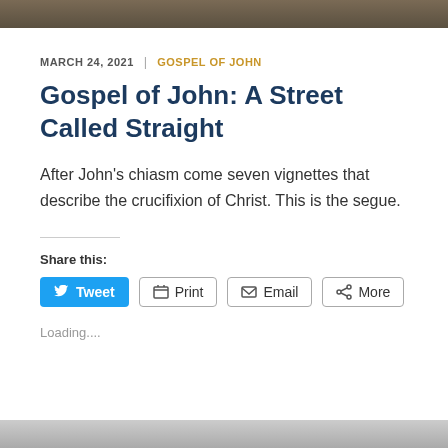[top image banner]
MARCH 24, 2021  |  GOSPEL OF JOHN
Gospel of John: A Street Called Straight
After John's chiasm come seven vignettes that describe the crucifixion of Christ. This is the segue.
Share this:
Tweet  Print  Email  More
Loading....
[bottom image banner]